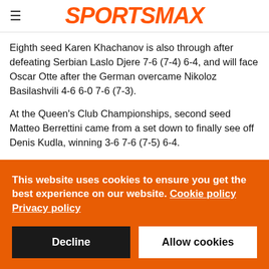SPORTSMAX
Eighth seed Karen Khachanov is also through after defeating Serbian Laslo Djere 7-6 (7-4) 6-4, and will face Oscar Otte after the German overcame Nikoloz Basilashvili 4-6 6-0 7-6 (7-3).
At the Queen's Club Championships, second seed Matteo Berrettini came from a set down to finally see off Denis Kudla, winning 3-6 7-6 (7-5) 6-4.
Defending champion Berrettini was troubled by the world number 82, and was just a tie-break away from suffering an
This website uses cookies to ensure you get the best experience on our website. Cookie policy
Privacy policy
Decline
Allow cookies